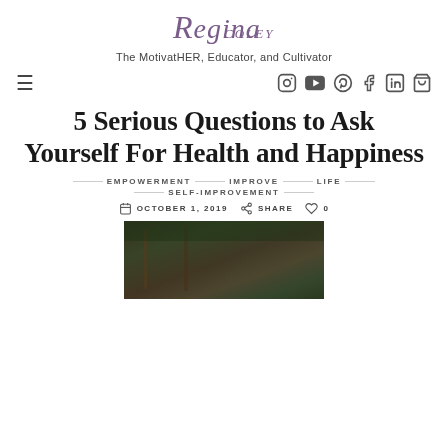[Figure (logo): Regina Coley script logo in purple/mauve italic font]
The MotivatHER, Educator, and Cultivator
[Figure (infographic): Navigation bar with hamburger menu on left and social media icons (Instagram, YouTube, Pinterest, Facebook, LinkedIn, Shopping bag) on right]
5 Serious Questions to Ask Yourself For Health and Happiness
EMPOWERMENT   IMPROVE   LIFE   SELF-IMPROVEMENT
OCTOBER 1, 2019   SHARE   0
[Figure (photo): Outdoor photo with green foliage and dark architectural elements, partial view]